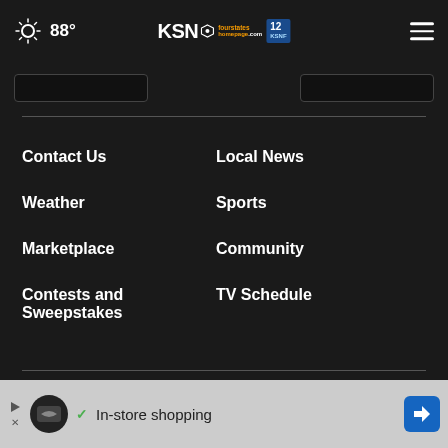88° KSN fourstates homepage.com 12
Contact Us
Local News
Weather
Sports
Marketplace
Community
Contests and Sweepstakes
TV Schedule
About our Ads
Advertise With Us
KSNF EB...
[Figure (screenshot): Ad banner: in-store shopping advertisement with navigation arrow icon]